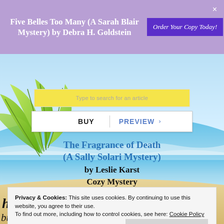Five Belles Too Many (A Sarah Blair Mystery) by Debra H. Goldstein
Order Your Copy Today!
BUY   PREVIEW
The Fragrance of Death (A Sally Solari Mystery)
by Leslie Karst
Cozy Mystery
Privacy & Cookies: This site uses cookies. By continuing to use this website, you agree to their use.
To find out more, including how to control cookies, see here: Cookie Policy
Close and accept
but when her sense of smell goes missing, it's